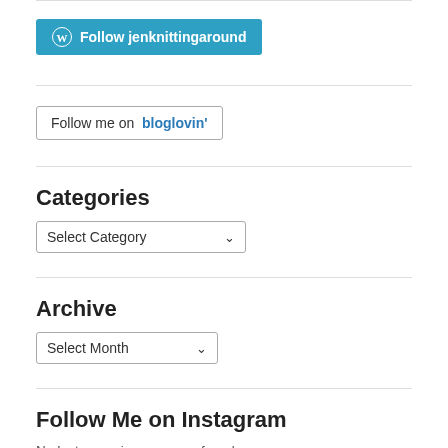[Figure (other): WordPress Follow button: teal/cyan rounded button with WordPress logo and text 'Follow jenknittingaround']
[Figure (other): Bloglovin follow button: bordered button with text 'Follow me on bloglovin']
Categories
[Figure (other): Dropdown select box labeled 'Select Category' with a chevron/arrow]
Archive
[Figure (other): Dropdown select box labeled 'Select Month' with a chevron/arrow]
Follow Me on Instagram
No Instagram images were found.